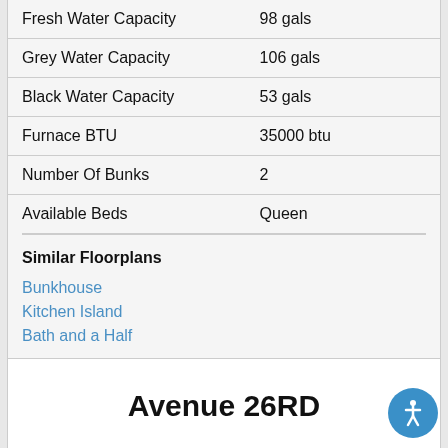| Specification | Value |
| --- | --- |
| Fresh Water Capacity | 98 gals |
| Grey Water Capacity | 106 gals |
| Black Water Capacity | 53 gals |
| Furnace BTU | 35000 btu |
| Number Of Bunks | 2 |
| Available Beds | Queen |
Similar Floorplans
Bunkhouse
Kitchen Island
Bath and a Half
Avenue 26RD